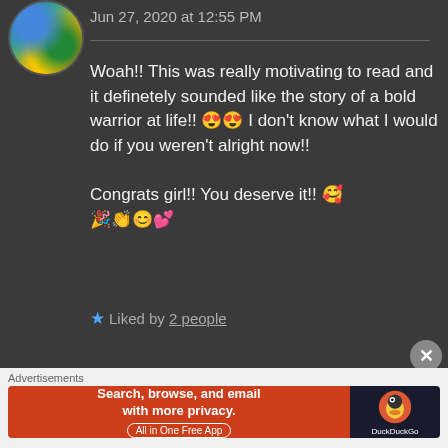[Figure (photo): Circular avatar photo with colorful abstract/floral pattern in blue, green, yellow, orange tones]
Jun 27, 2020 at 12:55 PM
Woah!! This was really motivating to read and it definetely sounded like the story of a bold warrior at life!! 😍😍 I don't know what I would do if you weren't alright now!!

Congrats girl!! You deserve it!! 🥰
🎉👏😊💕
★ Liked by 2 people
Advertisements
[Figure (screenshot): DuckDuckGo advertisement banner: 'Search, browse, and email with more privacy. All in One Free App' on orange background with DuckDuckGo duck logo on dark background]